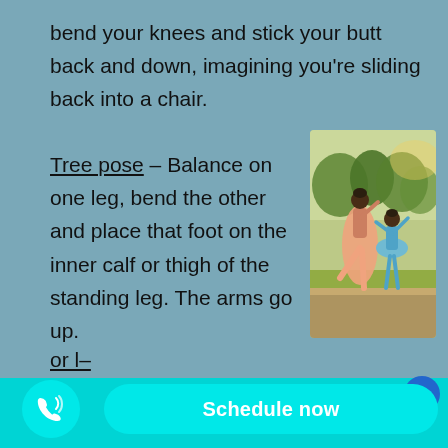bend your knees and stick your butt back and down, imagining you're sliding back into a chair.
Tree pose – Balance on one leg, bend the other and place that foot on the inner calf or thigh of the standing leg. The arms go up.
[Figure (photo): Two people performing ballet/dance poses outdoors, one adult in a pink/peach dress and one child in a blue tutu, with trees in the background]
or l–